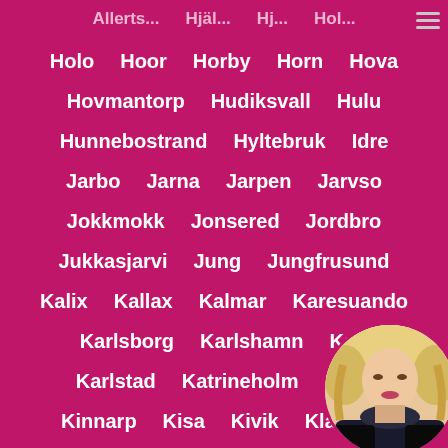Holo  Hoor  Horby  Horn  Hova  Hovmantorp  Hudiksvall  Hulu  Hunnebostrand  Hyltebruk  Idre  Jarbo  Jarna  Jarpen  Jarvso  Jokkmokk  Jonsered  Jordbro  Jukkasjarvi  Jung  Jungfrusund  Kalix  Kallax  Kalmar  Karesuando  Karlsborg  Karlshamn  Karl...  Karlstad  Katrineholm  Kavli...  Kinnarp  Kisa  Kivik  Klades...
[Figure (photo): Circular cropped photo of a blonde woman in a black outfit, positioned in the bottom-right corner of the page.]